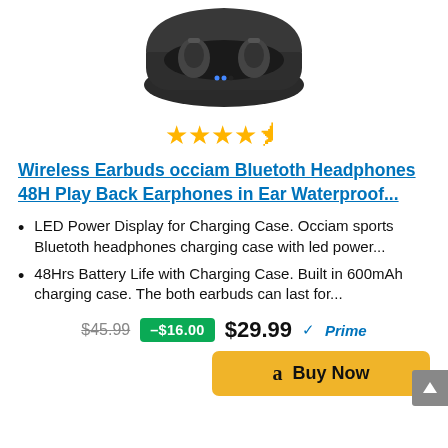[Figure (photo): Wireless earbuds in an open black charging case, shown from above]
★★★★½ (4.5 stars rating)
Wireless Earbuds occiam Bluetoth Headphones 48H Play Back Earphones in Ear Waterproof...
LED Power Display for Charging Case. Occiam sports Bluetoth headphones charging case with led power...
48Hrs Battery Life with Charging Case. Built in 600mAh charging case. The both earbuds can last for...
$45.99  –$16.00  $29.99 ✓Prime
Buy Now